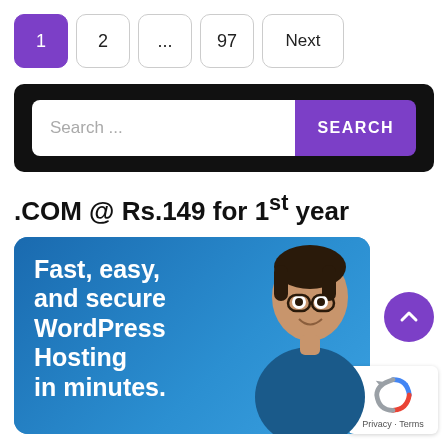1  2  ...  97  Next
[Figure (screenshot): Search bar with black background, text input field saying 'Search ...' and a purple SEARCH button]
.COM @ Rs.149 for 1st year
[Figure (infographic): Blue banner ad with white bold text: 'Fast, easy, and secure WordPress Hosting in minutes.' with a photo of a smiling man with glasses]
[Figure (other): Purple circular scroll-up button with upward chevron arrow]
[Figure (other): Google reCAPTCHA badge with Privacy and Terms links]